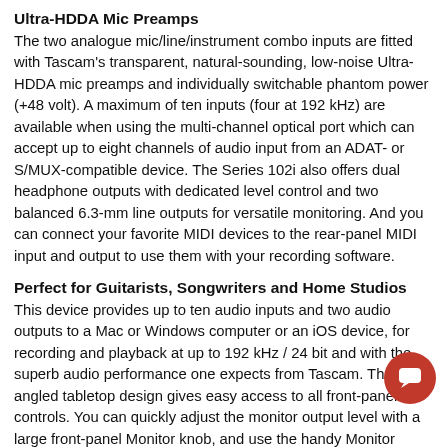Ultra-HDDA Mic Preamps
The two analogue mic/line/instrument combo inputs are fitted with Tascam's transparent, natural-sounding, low-noise Ultra-HDDA mic preamps and individually switchable phantom power (+48 volt). A maximum of ten inputs (four at 192 kHz) are available when using the multi-channel optical port which can accept up to eight channels of audio input from an ADAT- or S/MUX-compatible device. The Series 102i also offers dual headphone outputs with dedicated level control and two balanced 6.3-mm line outputs for versatile monitoring. And you can connect your favorite MIDI devices to the rear-panel MIDI input and output to use them with your recording software.
Perfect for Guitarists, Songwriters and Home Studios
This device provides up to ten audio inputs and two audio outputs to a Mac or Windows computer or an iOS device, for recording and playback at up to 192 kHz / 24 bit and with the superb audio performance one expects from Tascam. The angled tabletop design gives easy access to all front-panel controls. You can quickly adjust the monitor output level with a large front-panel Monitor knob, and use the handy Monitor Balance control to mix live input with computer playback for zero-latency overdubs.
Features: